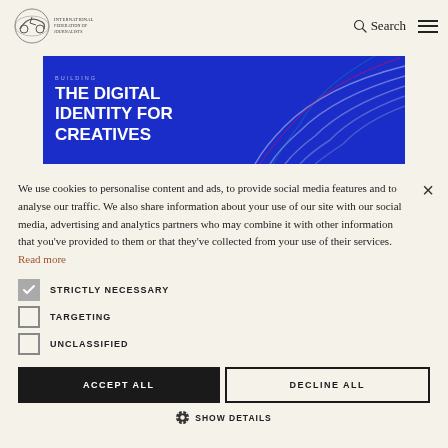Logo | Search | Menu
[Figure (illustration): Website header with logo on left, Search icon and hamburger menu on right]
[Figure (screenshot): Blue banner advertisement: THE DIGITAL IDENTITY FOR CREATIVES]
We use cookies to personalise content and ads, to provide social media features and to analyse our traffic. We also share information about your use of our site with our social media, advertising and analytics partners who may combine it with other information that you've provided to them or that they've collected from your use of their services. Read more
STRICTLY NECESSARY (checked)
TARGETING (unchecked)
UNCLASSIFIED (unchecked)
ACCEPT ALL
DECLINE ALL
SHOW DETAILS